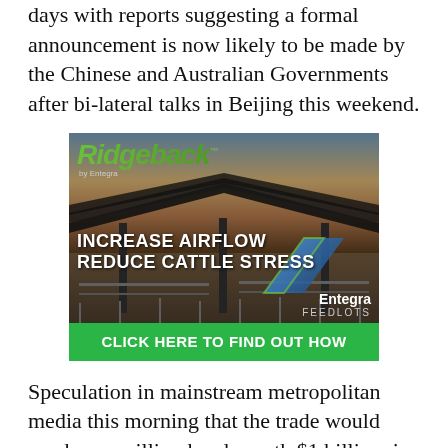days with reports suggesting a formal announcement is now likely to be made by the Chinese and Australian Governments after bi-lateral talks in Beijing this weekend.
[Figure (photo): Advertisement for Ridgeback by Entegra Feedlots showing a cattle feedlot structure with text 'INCREASE AIRFLOW REDUCE CATTLE STRESS' and a green call-to-action bar 'CLICK HERE TO FIND OUT HOW']
Speculation in mainstream metropolitan media this morning that the trade would reach one million head, worth $1 billion, in year-one appear